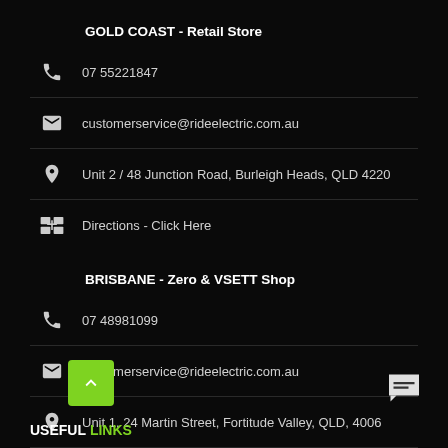GOLD COAST - Retail Store
07 55221847
customerservice@rideelectric.com.au
Unit 2 / 48 Junction Road, Burleigh Heads, QLD 4220
Directions - Click Here
BRISBANE - Zero & VSETT Shop
07 48981099
customerservice@rideelectric.com.au
Unit 1, 24 Martin Street, Fortitude Valley, QLD, 4006
Directions - Click Here
USEFUL LINKS